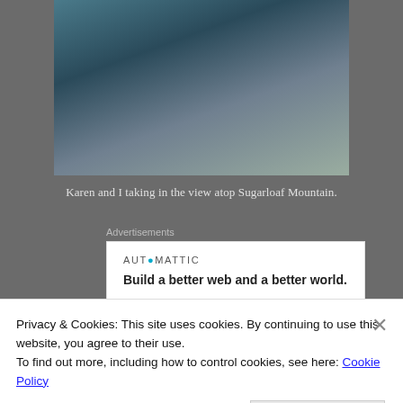[Figure (photo): Two people (Karen and the author) viewed from behind, looking out at a scenic view from atop Sugarloaf Mountain, with water and landscape in the background.]
Karen and I taking in the view atop Sugarloaf Mountain.
Advertisements
[Figure (screenshot): Automattic advertisement: 'Build a better web and a better world.']
7. The “good stuff”– if you take a seat on the beach
Privacy & Cookies: This site uses cookies. By continuing to use this website, you agree to their use.
To find out more, including how to control cookies, see here: Cookie Policy
Close and accept